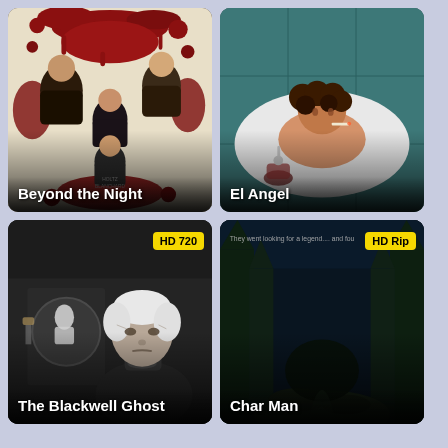[Figure (photo): Movie poster for 'Beyond the Night' showing several people with red blood splatter design on white/cream background]
Beyond the Night
[Figure (photo): Movie poster for 'El Angel' showing a young person lying in a bathtub, overhead view with teal bathroom tiles]
El Angel
[Figure (photo): Movie poster for 'The Blackwell Ghost' showing a black and white image of an elderly woman with a ghost visible in a circular frame behind her, HD 720 badge]
The Blackwell Ghost
[Figure (photo): Movie poster for 'Char Man' showing a dark forest path with text 'They went looking for a legend.... and found' at top, HD Rip badge]
Char Man